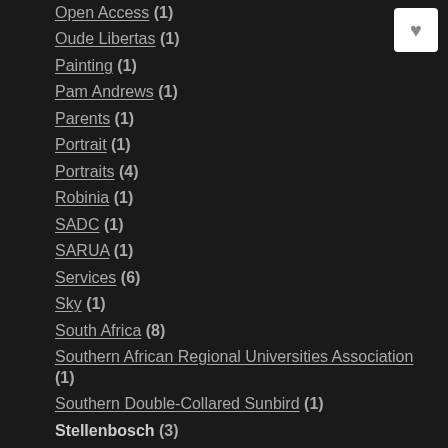Open Access (1)
Oude Libertas (1)
Painting (1)
Pam Andrews (1)
Parents (1)
Portrait (1)
Portraits (4)
Robinia (1)
SADC (1)
SARUA (1)
Services (6)
Sky (1)
South Africa (8)
Southern African Regional Universities Association (1)
Southern Double-Collared Sunbird (1)
Stellenbosch (3)
Studio (2)
Summerfest (1)
Sunbird (1)
Support (3)
Swamp Cypress (1)
Table Mountain (2)
The Warinsane (1)